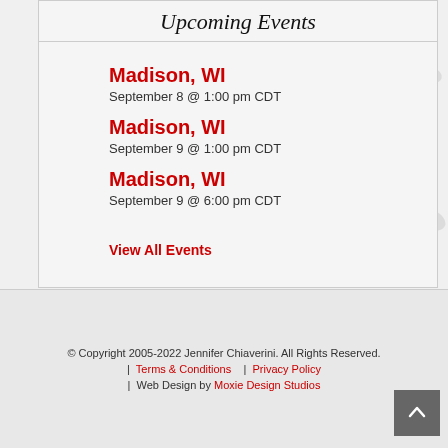Upcoming Events
Madison, WI
September 8 @ 1:00 pm CDT
Madison, WI
September 9 @ 1:00 pm CDT
Madison, WI
September 9 @ 6:00 pm CDT
View All Events
© Copyright 2005-2022 Jennifer Chiaverini. All Rights Reserved.
| Terms & Conditions | Privacy Policy
| Web Design by Moxie Design Studios